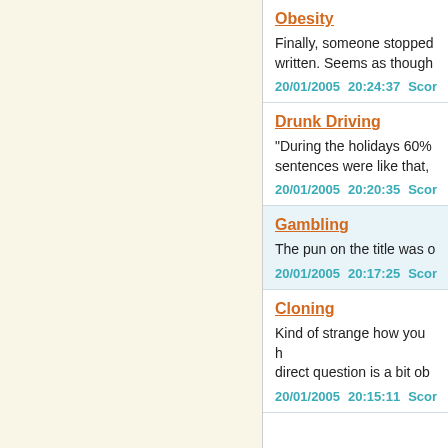Obesity
Finally, someone stopped written. Seems as though
20/01/2005   20:24:37   Scor
Drunk Driving
"During the holidays 60% sentences were like that,
20/01/2005   20:20:35   Scor
Gambling
The pun on the title was o
20/01/2005   20:17:25   Scor
Cloning
Kind of strange how you h direct question is a bit ob
20/01/2005   20:15:11   Scor